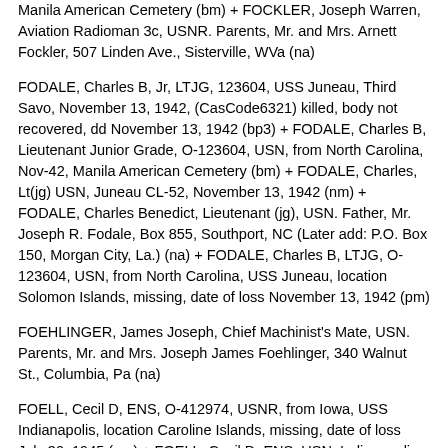Manila American Cemetery (bm) + FOCKLER, Joseph Warren, Aviation Radioman 3c, USNR. Parents, Mr. and Mrs. Arnett Fockler, 507 Linden Ave., Sisterville, WVa (na)
FODALE, Charles B, Jr, LTJG, 123604, USS Juneau, Third Savo, November 13, 1942, (CasCode6321) killed, body not recovered, dd November 13, 1942 (bp3) + FODALE, Charles B, Lieutenant Junior Grade, O-123604, USN, from North Carolina, Nov-42, Manila American Cemetery (bm) + FODALE, Charles, Lt(jg) USN, Juneau CL-52, November 13, 1942 (nm) + FODALE, Charles Benedict, Lieutenant (jg), USN. Father, Mr. Joseph R. Fodale, Box 855, Southport, NC (Later add: P.O. Box 150, Morgan City, La.) (na) + FODALE, Charles B, LTJG, O-123604, USN, from North Carolina, USS Juneau, location Solomon Islands, missing, date of loss November 13, 1942 (pm)
FOEHLINGER, James Joseph, Chief Machinist's Mate, USN. Parents, Mr. and Mrs. Joseph James Foehlinger, 340 Walnut St., Columbia, Pa (na)
FOELL, Cecil D, ENS, O-412974, USNR, from Iowa, USS Indianapolis, location Caroline Islands, missing, date of loss July 30, 1945 (pm) + FOELL, Cecil D, ENS, USN, Indianapolis CA-35, July 30, 1945 (in) + FOELL, Cecil D, Ensign, O-412974, USN, from Iowa, Jul-45, Manila American Cemetery (bm) + FOELL,